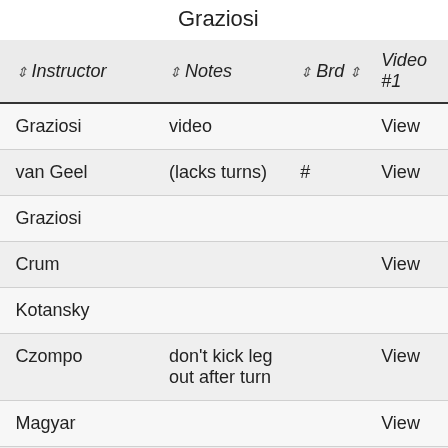Graziosi
|  | Instructor | Notes | Brd | Video #1 |
| --- | --- | --- | --- | --- |
|  | Graziosi | video |  | View |
|  | van Geel | (lacks turns) | # | View |
|  | Graziosi |  |  |  |
|  | Crum |  |  | View |
|  | Kotansky |  |  |  |
|  | Czompo | don't kick leg out after turn |  | View |
|  | Magyar |  |  | View |
|  | Foltin |  |  |  |
|  | Floroscu/Dion |  | # | View |